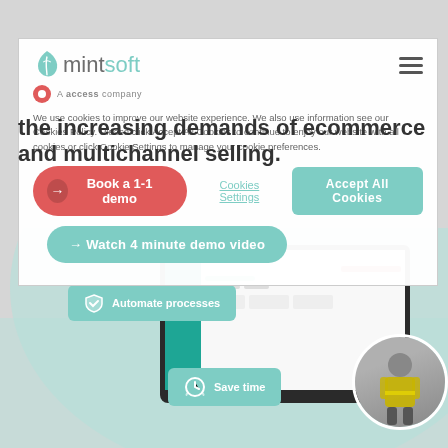[Figure (screenshot): Mintsoft logo with teal leaf icon and hamburger menu icon]
A access company
We use cookies to improve our website experience. We also use information see our Cookies Policy. Please click Accept All Cookies to continue to enjoy our website with all cookies or click Cookie Settings to manage your cookie preferences.
the increasing demands of ecommerce and multichannel selling.
→ Book a 1-1 demo
Cookies Settings
Accept All Cookies
→ Watch 4 minute demo video
[Figure (screenshot): Laptop screen showing Mintsoft WMS dashboard interface with teal sidebar]
Automate processes
Save time
[Figure (photo): Worker in yellow hi-vis vest in a warehouse]